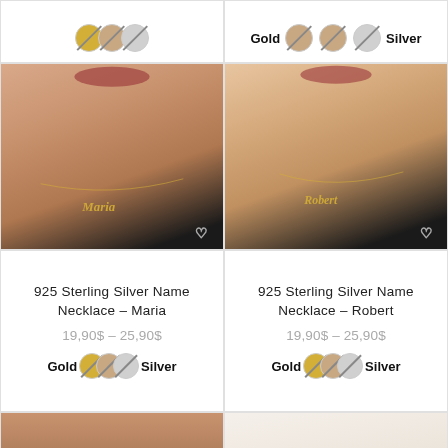[Figure (photo): Partial top strip showing color swatches for Gold, Rose, Silver for a previous product (left column)]
[Figure (photo): Partial top strip showing color swatches with text 'Gold Rose Silver' overlaid (right column)]
[Figure (photo): 925 Sterling Silver Name Necklace Maria worn by model - left product image]
[Figure (photo): 925 Sterling Silver Name Necklace Robert worn by model - right product image]
925 Sterling Silver Name Necklace – Maria
19,90$ – 25,90$
Gold Rose Silver
925 Sterling Silver Name Necklace – Robert
19,90$ – 25,90$
Gold Rose Silver
[Figure (photo): Bottom partial image - left: model wearing jewelry on neck/chest]
[Figure (photo): Bottom partial image - right: white/cream background jewelry display]